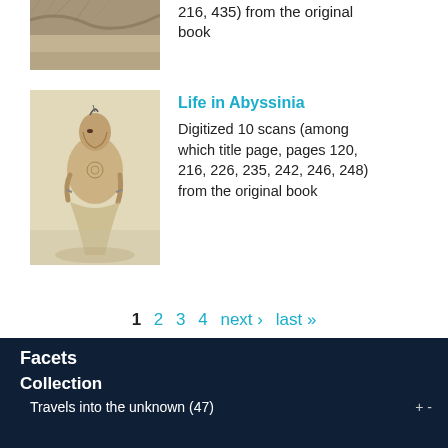[Figure (illustration): Partial cropped view of a historical illustration, upper portion visible]
216, 435) from the original book
[Figure (illustration): Sepia-toned illustration of a seated African woman with traditional adornments and body markings]
Life in Abyssinia
Digitized 10 scans (among which title page, pages 120, 216, 226, 235, 242, 246, 248) from the original book
1  2  3  4  next ›  last »
In collections
Special Collections
Facets
Collection
Travels into the unknown (47)